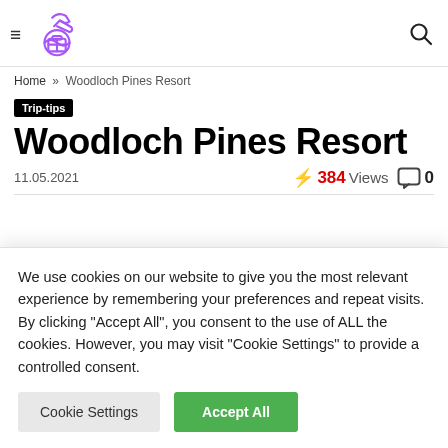Navigation header with hamburger menu, travel logo, and search icon
Home » Woodloch Pines Resort
Trip-tips
Woodloch Pines Resort
11.05.2021  ⚡ 384 Views  0
We use cookies on our website to give you the most relevant experience by remembering your preferences and repeat visits. By clicking "Accept All", you consent to the use of ALL the cookies. However, you may visit "Cookie Settings" to provide a controlled consent.